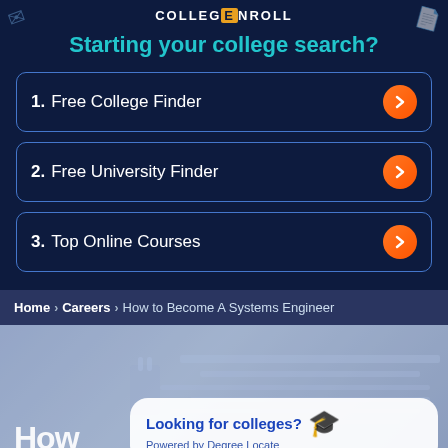COLLEGE NROLL
Starting your college search?
1. Free College Finder
2. Free University Finder
3. Top Online Courses
Home > Careers > How to Become A Systems Engineer
[Figure (photo): Hero background image showing technology/server equipment with blue overlay tint]
How
Looking for colleges?
Powered by Degree Locate